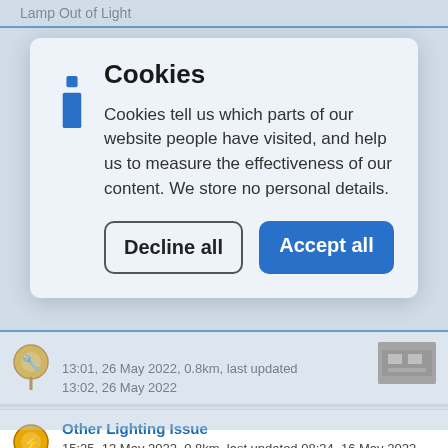Lamp Out of Light
Cookies
Cookies tell us which parts of our website people have visited, and help us to measure the effectiveness of our content. We store no personal details.
Decline all
Accept all
13:01, 26 May 2022, 0.8km, last updated 13:02, 26 May 2022
Other Lighting Issue
15:25, 13 May 2022, 0.8km, last updated 08:34, 16 May 2022